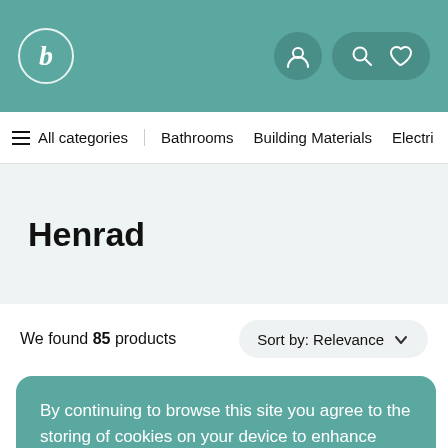b — logo and navigation icons
≡ All categories | Bathrooms | Building Materials | Electric
Henrad
We found 85 products — Sort by: Relevance
By continuing to browse this site you agree to the storing of cookies on your device to enhance your experience.